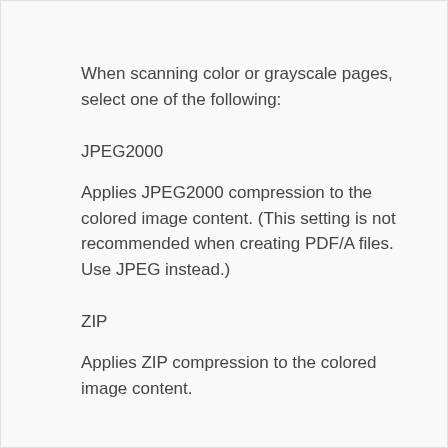When scanning color or grayscale pages, select one of the following:
JPEG2000
Applies JPEG2000 compression to the colored image content. (This setting is not recommended when creating PDF/A files. Use JPEG instead.)
ZIP
Applies ZIP compression to the colored image content.